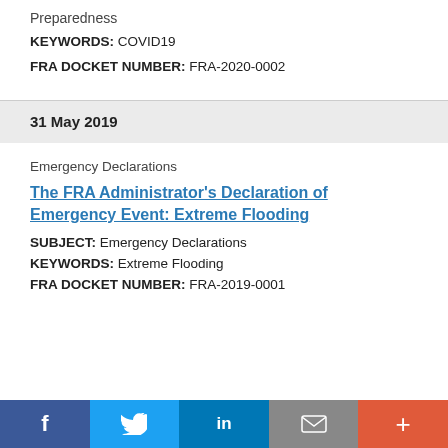Preparedness
KEYWORDS: COVID19
FRA DOCKET NUMBER: FRA-2020-0002
31 May 2019
Emergency Declarations
The FRA Administrator's Declaration of Emergency Event: Extreme Flooding
SUBJECT: Emergency Declarations
KEYWORDS: Extreme Flooding
FRA DOCKET NUMBER: FRA-2019-0001
f  [Twitter bird]  in  [mail]  +